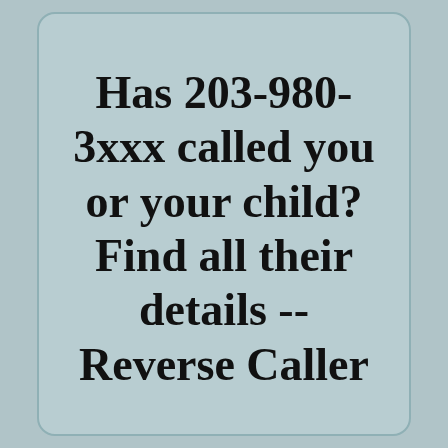Has 203-980-3xxx called you or your child? Find all their details -- Reverse Caller